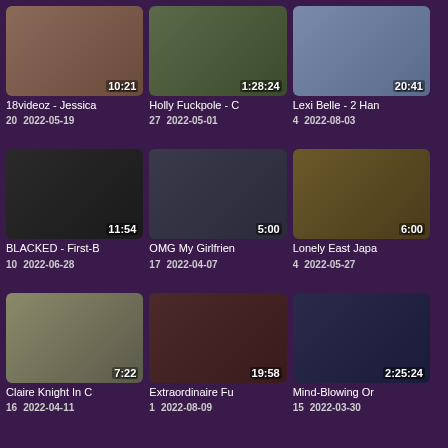[Figure (screenshot): Video thumbnail grid showing 9 adult video listings with thumbnails, durations, titles, view counts and dates]
18videoz - Jessic
20   2022-05-19
Holly Fuckpole - C
27   2022-05-01
Lexi Belle - 2 Han
4   2022-08-03
BLACKED - First-B
10   2022-06-28
OMG My Girlfrien
17   2022-04-07
Lonely East Japa
4   2022-05-27
Claire Knight In C
16   2022-04-11
Extraordinaire Fu
1   2022-08-09
Mind-Blowing Or
15   2022-03-30